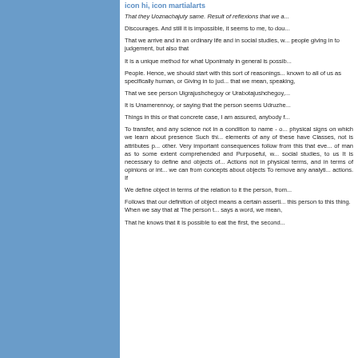[Figure (illustration): Blue sidebar panel on the left side of the page]
icon hi, icon martialarts
That they Uoznachajuty same. Result of reflexions that we a...
Discourages. And still it is impossible, it seems to me, to dou...
That we arrive and in an ordinary life and in social studies, w... people giving in to judgement, but also that
It is a unique method for what Uponimaty in general is possib...
People. Hence, we should start with this sort of reasonings... known to all of us as specifically human, or Giving in to jud... that we mean, speaking,
That we see person Uigrajushchegoy or Urabotajushchegoy,...
It is Unamerennoy, or saying that the person seems Udruzhе...
Things in this or that concrete case, I am assured, anybody f...
To transfer, and any science not in a condition to name - o... physical signs on which we learn about presence Such thi... elements of any of these have Classes, not is attributes p... other. Very important consequences follow from this that eve... of man as to some extent comprehended and Purposeful, w... social studies, to us It is necessary to define and objects of... Actions not in physical terms, and in terms of opinions or int... we can from concepts about objects To remove any analyti... actions. If
We define object in terms of the relation to it the person, from...
Follows that our definition of object means a certain asserti... this person to this thing. When we say that at The person t... says a word, we mean,
That he knows that it is possible to eat the first, the second...